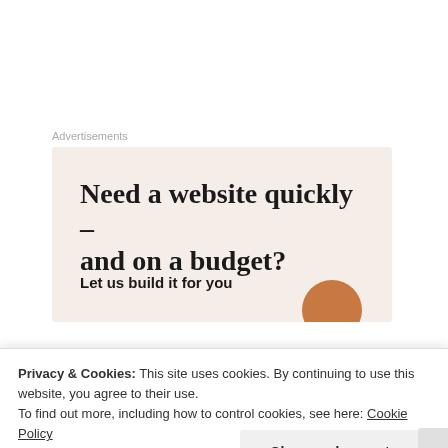Advertisements
[Figure (infographic): Advertisement banner with text 'Need a website quickly – and on a budget? Let us build it for you' on a light beige background with an orange circle graphic element.]
“Desire lines, also known as cow paths, pirate paths, social trails, kemonomichi(beast trails), chemins de l’âne (donkey paths), and Olifantenpad (elephant
Privacy & Cookies: This site uses cookies. By continuing to use this website, you agree to their use.
To find out more, including how to control cookies, see here: Cookie Policy
Close and accept